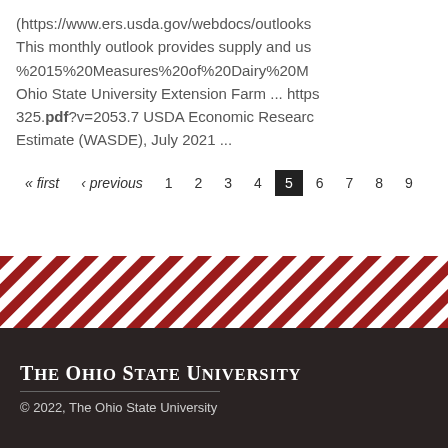(https://www.ers.usda.gov/webdocs/outlooks... This monthly outlook provides supply and us... %2015%20Measures%20of%20Dairy%20M... Ohio State University Extension Farm ... https... 325.pdf?v=2053.7 USDA Economic Research... Estimate (WASDE), July 2021 ...
« first ‹ previous 1 2 3 4 5 6 7 8 9
[Figure (illustration): Diagonal red and white stripes decorative band]
The Ohio State University © 2022, The Ohio State University